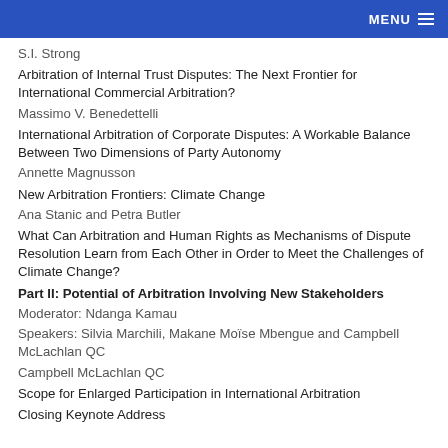MENU
S.I. Strong
Arbitration of Internal Trust Disputes: The Next Frontier for International Commercial Arbitration?
Massimo V. Benedettelli
International Arbitration of Corporate Disputes: A Workable Balance Between Two Dimensions of Party Autonomy
Annette Magnusson
New Arbitration Frontiers: Climate Change
Ana Stanic and Petra Butler
What Can Arbitration and Human Rights as Mechanisms of Dispute Resolution Learn from Each Other in Order to Meet the Challenges of Climate Change?
Part II: Potential of Arbitration Involving New Stakeholders
Moderator: Ndanga Kamau
Speakers: Silvia Marchili, Makane Moïse Mbengue and Campbell McLachlan QC
Campbell McLachlan QC
Scope for Enlarged Participation in International Arbitration
Closing Keynote Address